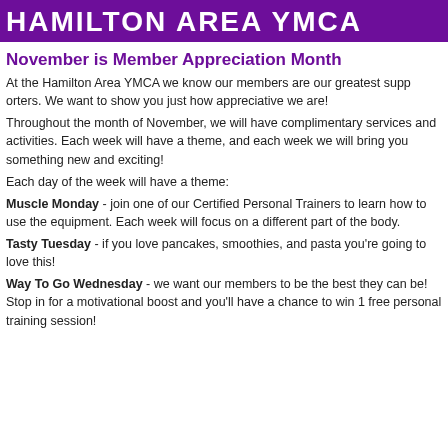HAMILTON AREA YMCA
November is Member Appreciation Month
At the Hamilton Area YMCA we know our members are our greatest supporters. We want to show you just how appreciative we are!
Throughout the month of November, we will have complimentary services and activities. Each week will have a theme, and each week we will bring you something new and exciting!
Each day of the week will have a theme:
Muscle Monday - join one of our Certified Personal Trainers to learn how to use the equipment. Each week will focus on a different part of the body.
Tasty Tuesday - if you love pancakes, smoothies, and pasta you're going to love this!
Way To Go Wednesday - we want our members to be the best they can be! Stop in for a motivational boost and you'll have a chance to win 1 free personal training session!